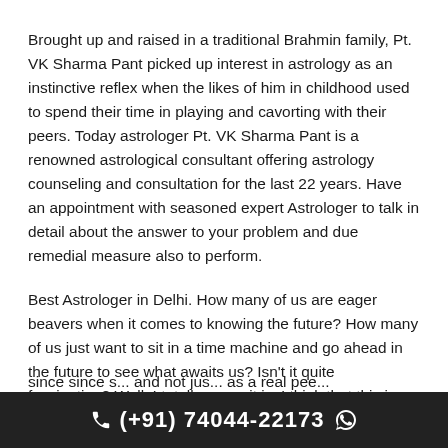Brought up and raised in a traditional Brahmin family, Pt. VK Sharma Pant picked up interest in astrology as an instinctive reflex when the likes of him in childhood used to spend their time in playing and cavorting with their peers. Today astrologer Pt. VK Sharma Pant is a renowned astrological consultant offering astrology counseling and consultation for the last 22 years. Have an appointment with seasoned expert Astrologer to talk in detail about the answer to your problem and due remedial measure also to perform.
Best Astrologer in Delhi. How many of us are eager beavers when it comes to knowing the future? How many of us just want to sit in a time machine and go ahead in the future to see what awaits us? Isn't it quite fascinating? Well, I totally agree it is. I think that this is the best thing since s... and not ju... as a real pee...
(+91) 74044-22173